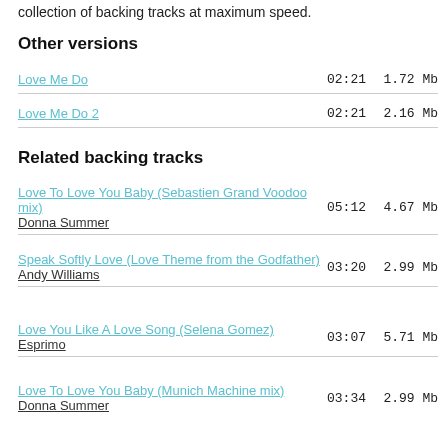collection of backing tracks at maximum speed.
Other versions
Love Me Do | 02:21 | 1.72 Mb
Love Me Do 2 | 02:21 | 2.16 Mb
Related backing tracks
Love To Love You Baby (Sebastien Grand Voodoo mix) - Donna Summer | 05:12 | 4.67 Mb
Speak Softly Love (Love Theme from the Godfather) - Andy Williams | 03:20 | 2.99 Mb
Love You Like A Love Song (Selena Gomez) - Esprimo | 03:07 | 5.71 Mb
Love To Love You Baby (Munich Machine mix) - Donna Summer | 03:34 | 2.99 Mb